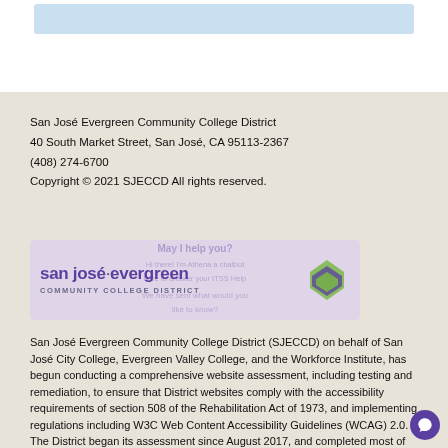[Figure (other): Blue search bar / input box at top of page]
San José Evergreen Community College District
40 South Market Street, San José, CA 95113-2367
(408) 274-6700
Copyright © 2021 SJECCD All rights reserved.
[Figure (logo): San José Evergreen Community College District logo with purple text and green/purple diamond icon, overlaid with chatbot dialog]
San José Evergreen Community College District (SJECCD) on behalf of San José City College, Evergreen Valley College, and the Workforce Institute, has begun conducting a comprehensive website assessment, including testing and remediation, to ensure that District websites comply with the accessibility requirements of section 508 of the Rehabilitation Act of 1973, and implementing regulations including W3C Web Content Accessibility Guidelines (WCAG) 2.0. The District began its assessment since August 2017, and completed most of this work by January 2018. It is of primary importance that all of our website visitors, especially those with disabilities, are able to access and use our websites without barriers. The District continues to make every effort to ensure our websites are ADA compliant and adhere to Section 508 and WCAG 2.0 Levels A, AA, and AAA.